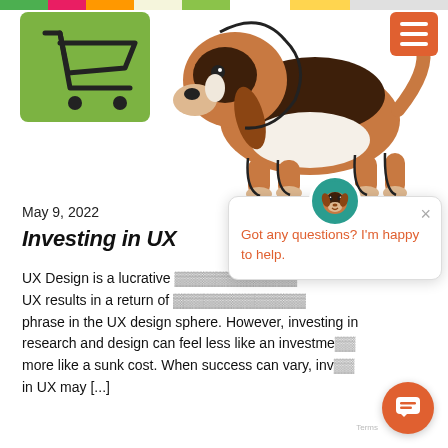[Figure (illustration): Website screenshot header showing a cartoon dog (beagle, brown/orange/white) and a shopping cart icon on a green background, with a colorful horizontal stripe bar at the top and an orange hamburger menu button in the top right.]
May 9, 2022
Investing in UX
UX Design is a lucrative UX results in a return of phrase in the UX design sphere. However, investing in research and design can feel less like an investment more like a sunk cost. When success can vary, inv in UX may [...]
[Figure (screenshot): Chat popup widget showing a dog avatar icon, a close (×) button, and the message 'Got any questions? I'm happy to help.' in orange text. An orange circular chat button with a speech bubble icon is visible at the bottom right.]